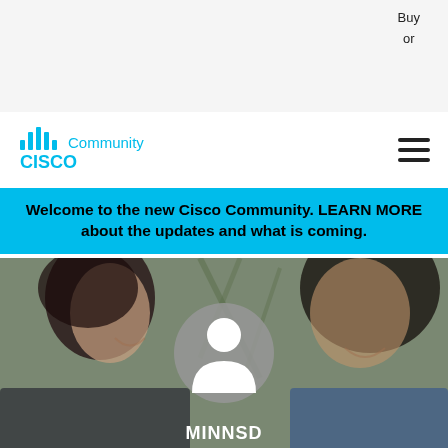Buy
or
[Figure (logo): Cisco Community logo with antenna/signal bars icon and 'CISCO' text in blue, followed by 'Community' in cyan]
[Figure (other): Hamburger menu icon (three horizontal lines)]
Welcome to the new Cisco Community. LEARN MORE about the updates and what is coming.
[Figure (photo): Hero background image showing two people smiling, with a gray circular avatar/profile placeholder icon in the center, and 'MINNSD' text partially visible at the bottom]